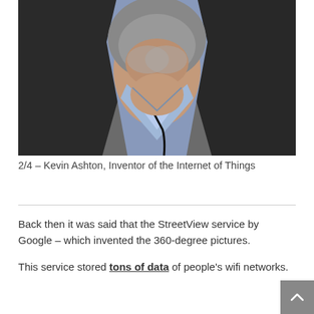[Figure (photo): Close-up photo of a middle-aged man with a grey beard wearing a dark blazer over a light blue shirt. The photo is cropped from the chin/neck area upward.]
2/4 – Kevin Ashton, Inventor of the Internet of Things
Back then it was said that the StreetView service by Google – which invented the 360-degree pictures.
This service stored tons of data of people's wifi networks.